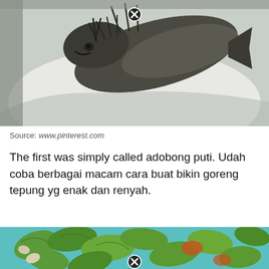[Figure (photo): Close-up photo of a fried or dried fish on a white plate, with bones and fins visible. A close/delete button (circled X) is overlaid near the top center of the image.]
Source: www.pinterest.com
The first was simply called adobong puti. Udah coba berbagai macam cara buat bikin goreng tepung yg enak dan renyah.
[Figure (photo): Close-up photo of green vegetables (likely bitter melon or similar) cooked in a dish, with some red/orange sauce or tomatoes. A close/delete button (circled X) is overlaid near the bottom center of the image. Only the top portion of the image is visible.]